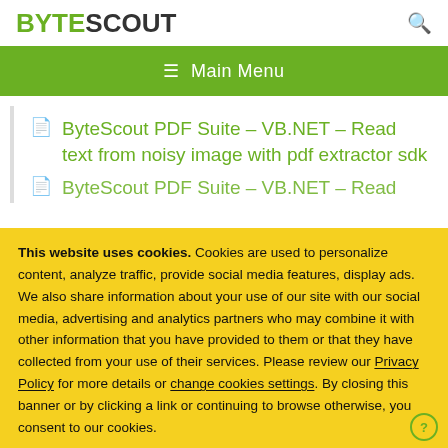BYTESCOUT
≡  Main Menu
ByteScout PDF Suite – VB.NET – Read text from noisy image with pdf extractor sdk
This website uses cookies. Cookies are used to personalize content, analyze traffic, provide social media features, display ads. We also share information about your use of our site with our social media, advertising and analytics partners who may combine it with other information that you have provided to them or that they have collected from your use of their services. Please review our Privacy Policy for more details or change cookies settings. By closing this banner or by clicking a link or continuing to browse otherwise, you consent to our cookies.
OK